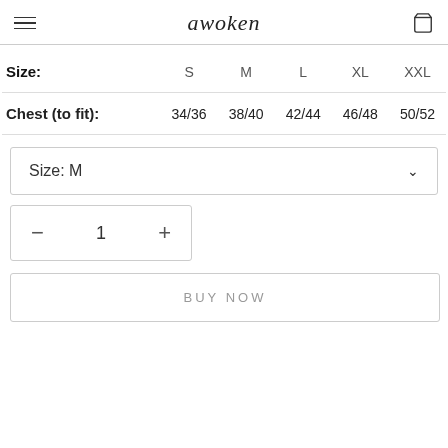awoken
| Size: | S | M | L | XL | XXL |
| --- | --- | --- | --- | --- | --- |
| Chest (to fit): | 34/36 | 38/40 | 42/44 | 46/48 | 50/52 |
Size: M
- 1 +
BUY NOW